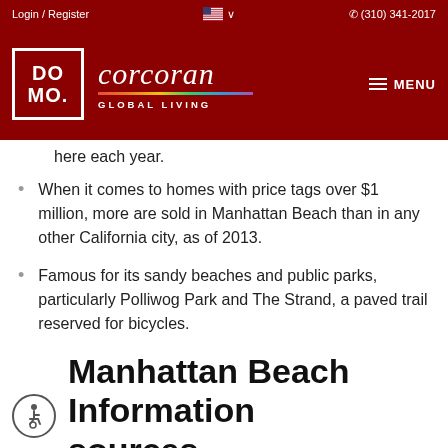Login / Register  (310) 341-2017
[Figure (logo): Domo Corcoran Global Living logo on dark red background with menu icon]
here each year.
When it comes to homes with price tags over $1 million, more are sold in Manhattan Beach than in any other California city, as of 2013.
Famous for its sandy beaches and public parks, particularly Polliwog Park and The Strand, a paved trail reserved for bicycles.
Manhattan Beach Information sources